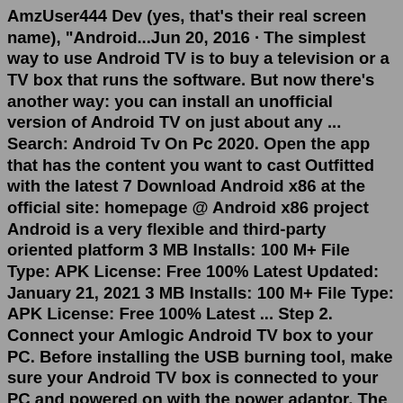AmzUser444 Dev (yes, that's their real screen name), "Android...Jun 20, 2016 · The simplest way to use Android TV is to buy a television or a TV box that runs the software. But now there's another way: you can install an unofficial version of Android TV on just about any ... Search: Android Tv On Pc 2020. Open the app that has the content you want to cast Outfitted with the latest 7 Download Android x86 at the official site: homepage @ Android x86 project Android is a very flexible and third-party oriented platform 3 MB Installs: 100 M+ File Type: APK License: Free 100% Latest Updated: January 21, 2021 3 MB Installs: 100 M+ File Type: APK License: Free 100% Latest ... Step 2. Connect your Amlogic Android TV box to your PC. Before installing the USB burning tool, make sure your Android TV box is connected to your PC and powered on with the power adaptor. The USB burning tool will install the drivers that your PC will need to have in order to communicate with the TV box.Transpeed Android TV Box, 7.50 /10 10. C Gosycost Android TV Box, 9.60 /10